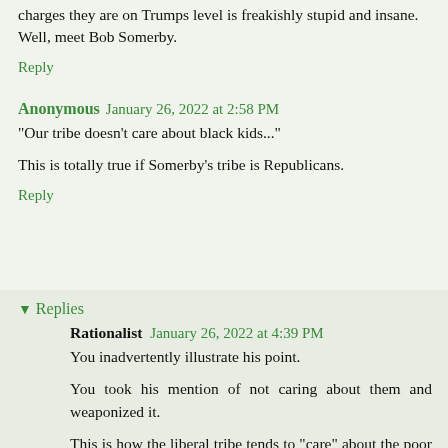charges they are on Trumps level is freakishly stupid and insane. Well, meet Bob Somerby.
Reply
Anonymous  January 26, 2022 at 2:58 PM
"Our tribe doesn't care about black kids..."
This is totally true if Somerby's tribe is Republicans.
Reply
Replies
Rationalist  January 26, 2022 at 4:39 PM
You inadvertently illustrate his point.
You took his mention of not caring about them and weaponized it.
This is how the liberal tribe tends to "care" about the poor and working class, many of which are indeed